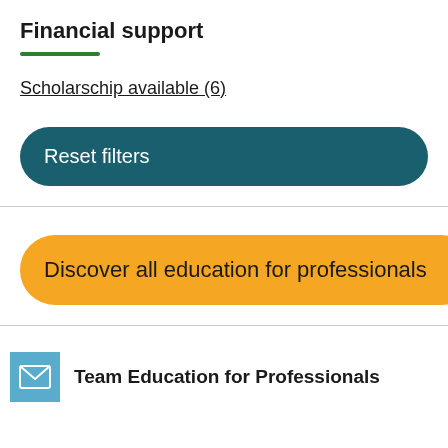Financial support
Scholarschip available (6)
Reset filters
Discover all education for professionals
Team Education for Professionals